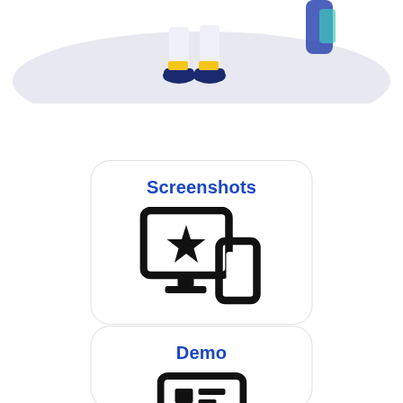[Figure (illustration): Partial illustration at top of page showing legs/feet of a cartoon character with dark blue shoes and yellow socks, standing on a light lavender/grey cloud-like shape, against white background.]
[Figure (other): Card with blue bold title 'Screenshots' and a black icon showing a computer monitor with a star and a mobile phone in front of it.]
[Figure (other): Partially visible card at bottom with blue bold title 'Demo' and a partially visible black icon of a screen/display.]